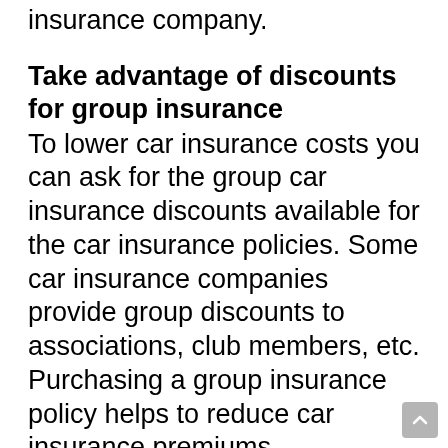insurance company.
Take advantage of discounts for group insurance
To lower car insurance costs you can ask for the group car insurance discounts available for the car insurance policies. Some car insurance companies provide group discounts to associations, club members, etc. Purchasing a group insurance policy helps to reduce car insurance premiums.
Look for other discounts
To lower car insurance cost drivers should ask for the discounts provided by the car insurance company to their customers. You can save in your car insurance policy by